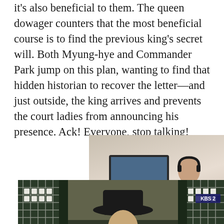it's also beneficial to them. The queen dowager counters that the most beneficial course is to find the previous king's secret will. Both Myung-hye and Commander Park jump on this plan, wanting to find that hidden historian to recover the letter—and just outside, the king arrives and prevents the court ladies from announcing his presence. Ack! Everyone, stop talking!
[Figure (photo): Two people sitting at computer workstations with headphones, in a bright studio or office environment with large windows.]
[Figure (photo): Scene from a Korean historical drama (KBS2), showing a person in traditional Korean court official attire with a black gat (hat), viewed from behind/side profile, with traditional architecture in the background.]